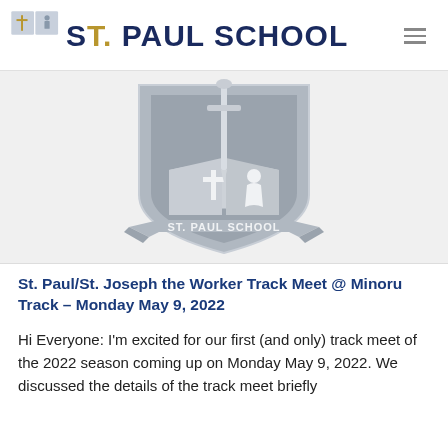ST. PAUL SCHOOL
[Figure (logo): St. Paul School shield logo in grey with cross, open book, sword, and banner reading ST. PAUL SCHOOL]
St. Paul/St. Joseph the Worker Track Meet @ Minoru Track – Monday May 9, 2022
Hi Everyone: I'm excited for our first (and only) track meet of the 2022 season coming up on Monday May 9, 2022. We discussed the details of the track meet briefly